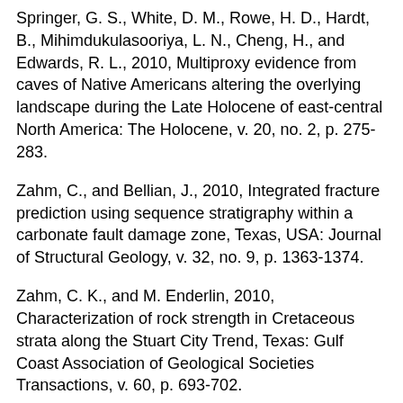Springer, G. S., White, D. M., Rowe, H. D., Hardt, B., Mihimdukulasooriya, L. N., Cheng, H., and Edwards, R. L., 2010, Multiproxy evidence from caves of Native Americans altering the overlying landscape during the Late Holocene of east-central North America: The Holocene, v. 20, no. 2, p. 275-283.
Zahm, C., and Bellian, J., 2010, Integrated fracture prediction using sequence stratigraphy within a carbonate fault damage zone, Texas, USA: Journal of Structural Geology, v. 32, no. 9, p. 1363-1374.
Zahm, C. K., and M. Enderlin, 2010, Characterization of rock strength in Cretaceous strata along the Stuart City Trend, Texas: Gulf Coast Association of Geological Societies Transactions, v. 60, p. 693-702.
2009
Kurtzman, D., El Azzi, J. A., Lucia, F. J., Bellian, J. A., Zahm,